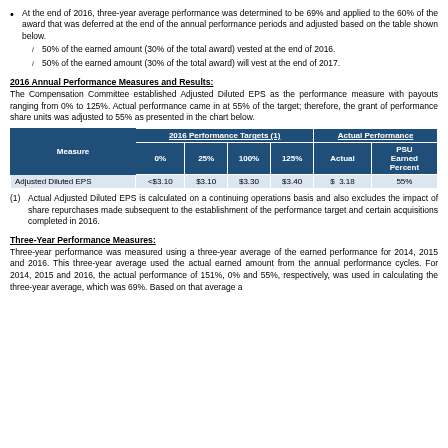At the end of 2016, three-year average performance was determined to be 69% and applied to the 60% of the award that was deferred at the end of the annual performance periods and adjusted based on the table shown below.
50% of the earned amount (30% of the total award) vested at the end of 2016.
50% of the earned amount (30% of the total award) will vest at the end of 2017.
2016 Annual Performance Measures and Results:
The Compensation Committee established Adjusted Diluted EPS as the performance measure with payouts ranging from 0% to 125%. Actual performance came in at 55% of the target; therefore, the grant of performance share units was adjusted to 55% as presented in the chart below.
| Measure | 0% | 25% | 100% | 125% | Actual | PSU Earned Percent |
| --- | --- | --- | --- | --- | --- | --- |
| Adjusted Diluted EPS | <$3.10 | $3.10 | $3.30 | $3.40 | $ 3.18 | 55% |
(1) Actual Adjusted Diluted EPS is calculated on a continuing operations basis and also excludes the impact of share repurchases made subsequent to the establishment of the performance target and certain acquisitions completed in 2016.
Three-Year Performance Measures:
Three-year performance was measured using a three-year average of the earned performance for 2014, 2015 and 2016. This three-year average used the actual earned amount from the annual performance cycles. For 2014, 2015 and 2016, the actual performance of 151%, 0% and 55%, respectively, was used in calculating the three-year average, which was 69%. Based on that average a